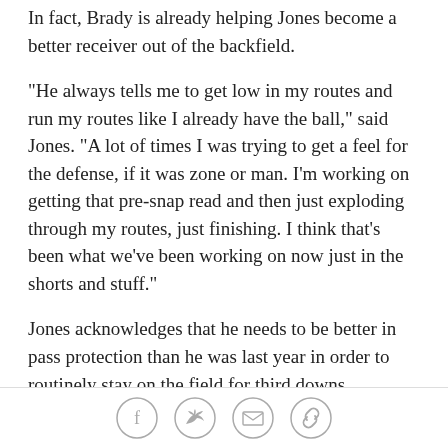In fact, Brady is already helping Jones become a better receiver out of the backfield.
"He always tells me to get low in my routes and run my routes like I already have the ball," said Jones. "A lot of times I was trying to get a feel for the defense, if it was zone or man. I'm working on getting that pre-snap read and then just exploding through my routes, just finishing. I think that's been what we've been working on now just in the shorts and stuff."
Jones acknowledges that he needs to be better in pass protection than he was last year in order to routinely stay on the field for third downs. Ogunbowale got most of his catches on third downs, when the Bucs were clearly intending to throw to someone, and that's because he was the team's most reliable blocker in the
Social share icons: Facebook, Twitter, Email, Link